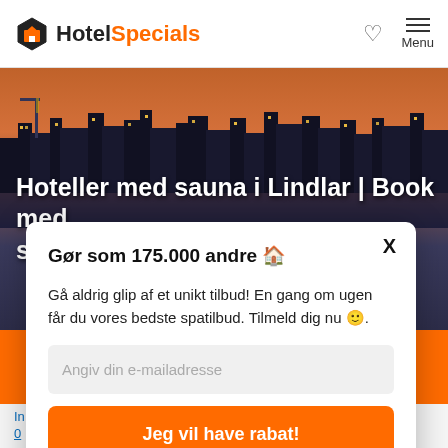[Figure (screenshot): HotelSpecials website header with logo (house icon in black hexagon, 'Hotel' in black bold, 'Specials' in orange bold), heart icon and hamburger Menu button on the right]
[Figure (photo): City skyline at dusk/night with orange and purple sky, buildings illuminated, waterfront scene with construction cranes visible]
Hoteller med sauna i Lindlar | Book med sauna på vores hjemmeside
Gør som 175.000 andre 🏠
Gå aldrig glip af et unikt tilbud! En gang om ugen får du vores bedste spatilbud. Tilmeld dig nu 🙂.
Angiv din e-mailadresse
Jeg vil have rabat!
Vi overholder GDPR for indsamling af personlige data.